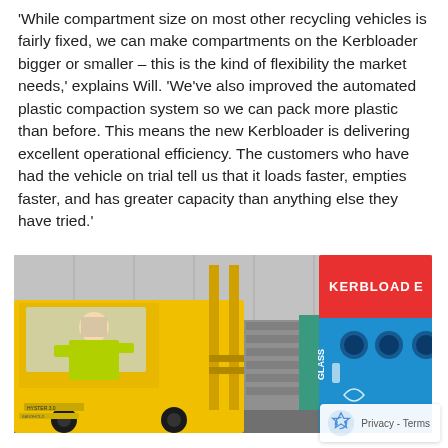'While compartment size on most other recycling vehicles is fairly fixed, we can make compartments on the Kerbloader bigger or smaller – this is the kind of flexibility the market needs,' explains Will. 'We've also improved the automated plastic compaction system so we can pack more plastic than before. This means the new Kerbloader is delivering excellent operational efficiency. The customers who have had the vehicle on trial tell us that it loads faster, empties faster, and has greater capacity than anything else they have tried.'
[Figure (photo): A yellow forklift truck operated by a worker in a high-visibility vest, positioned next to a blue and red Kerbloader recycling vehicle inside an industrial warehouse. The Kerbloader has 'KERBLOADER' text on the red upper section and recycling icons on the blue lower section labelled GLASS and PAPER.]